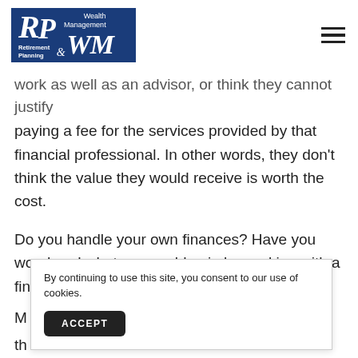[Figure (logo): RP & WM Retirement Planning & Wealth Management logo in dark blue box with white serif italic text]
work as well as an advisor, or think they cannot justify paying a fee for the services provided by that financial professional. In other words, they don't think the value they would receive is worth the cost.
Do you handle your own finances? Have you wondered what you could gain by working with a financial professional?
By continuing to use this site, you consent to our use of cookies.
ACCEPT
M... th...